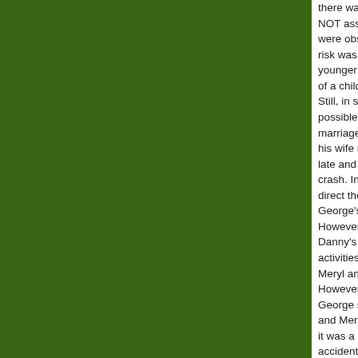[Figure (other): Large dark olive/forest green rectangular panel occupying the left portion of the page]
there was a higher... NOT associated wi... were observed for... risk was particularl... younger at diagnos... of a child, know yo... Still, in some cases... possible, grieving p... marriage because ... his wife responsibl... late and drive to th... crash. In this scena... direct their blame a... George's 11-year-o... However, Meryl, wh... Danny's death, Me... activities and often... Meryl and George ... However, the coup... George stepped in... and Meryl's marria... it was a different st... accident, and his d... the other hand...